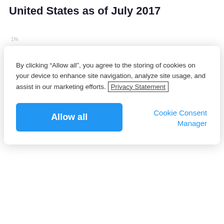United States as of July 2017
[Figure (screenshot): Cookie consent dialog overlay on top of a partially visible chart/page. The dialog contains text about cookie usage, a Privacy Statement link with a border, an 'Allow all' blue button, and a 'Cookie Consent Manager' link.]
By clicking “Allow all”, you agree to the storing of cookies on your device to enhance site navigation, analyze site usage, and assist in our marketing efforts. Privacy Statement
Allow all
Cookie Consent Manager